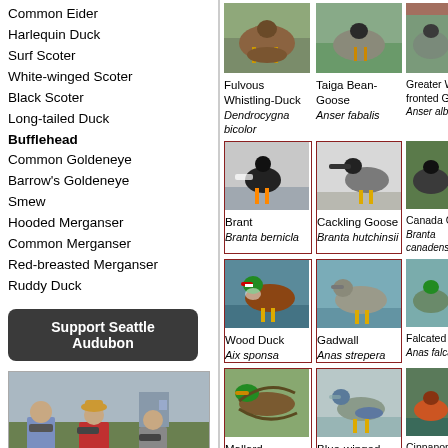Common Eider
Harlequin Duck
Surf Scoter
White-winged Scoter
Black Scoter
Long-tailed Duck
Bufflehead
Common Goldeneye
Barrow's Goldeneye
Smew
Hooded Merganser
Common Merganser
Red-breasted Merganser
Ruddy Duck
Support Seattle Audubon
[Figure (photo): People birding with binoculars]
Get Involved With Seattle Audubon! Go Birding!
[Figure (photo): Fulvous Whistling-Duck Dendrocygna bicolor]
[Figure (photo): Taiga Bean-Goose Anser fabalis]
[Figure (photo): Greater White-fronted Goose Anser albifrons]
[Figure (photo): Brant Branta bernicla]
[Figure (photo): Cackling Goose Branta hutchinsii]
[Figure (photo): Canada Goose Branta canadensis]
[Figure (photo): Wood Duck Aix sponsa]
[Figure (photo): Gadwall Anas strepera]
[Figure (photo): Falcated Duck Anas falcata]
[Figure (photo): Mallard Anas platyrhynchos]
[Figure (photo): Blue-winged Teal Anas discors]
[Figure (photo): Cinnamon Teal Anas cyanoptera]